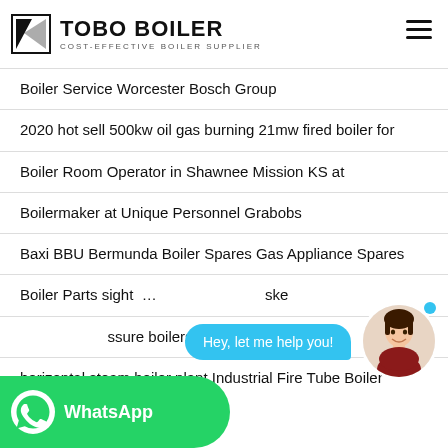TOBO BOILER — COST-EFFECTIVE BOILER SUPPLIER
Boiler Service Worcester Bosch Group
2020 hot sell 500kw oil gas burning 21mw fired boiler for
Boiler Room Operator in Shawnee Mission KS at
Boilermaker at Unique Personnel Grabobs
Baxi BBU Bermunda Boiler Spares Gas Appliance Spares
Boiler Parts sight ... ske
...ssure boilers download ZBG
horizontal steam boiler plant Industrial Fire Tube Boiler